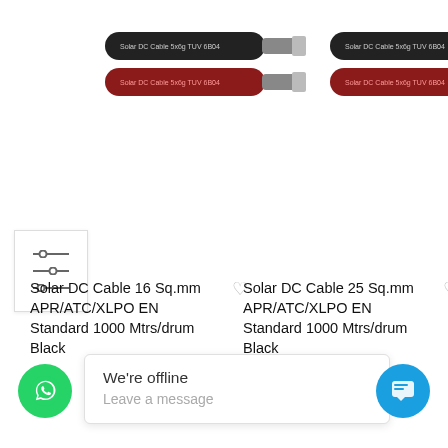[Figure (photo): Solar DC cable product image showing black and red cables side by side (left product)]
[Figure (photo): Solar DC cable product image showing black and red cables side by side (right product)]
Solar DC Cable 16 Sq.mm APR/ATC/XLPO EN Standard 1000 Mtrs/drum Black
Solar DC Cable 25 Sq.mm APR/ATC/XLPO EN Standard 1000 Mtrs/drum Black
We're offline
Leave a message